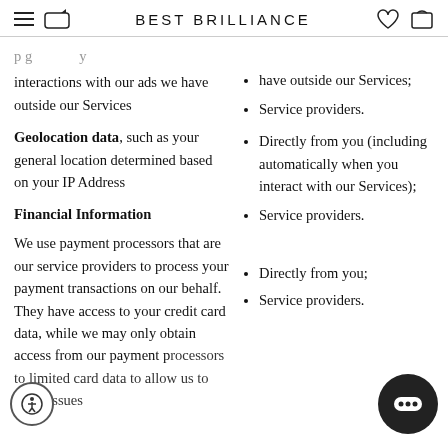BEST BRILLIANCE
interactions with our ads we have outside our Services
Geolocation data, such as your general location determined based on your IP Address
Financial Information
We use payment processors that are our service providers to process your payment transactions on our behalf. They have access to your credit card data, while we may only obtain access from our payment processors to limited card data to allow us to solve issues
have outside our Services;
Service providers.
Directly from you (including automatically when you interact with our Services);
Service providers.
Directly from you;
Service providers.